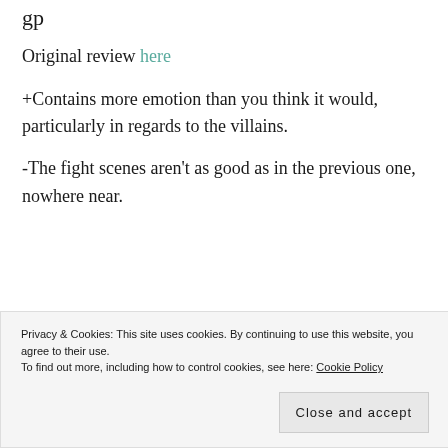Original review here
+Contains more emotion than you think it would, particularly in regards to the villains.
-The fight scenes aren't as good as in the previous one, nowhere near.
[Figure (screenshot): Dark advertisement banner with a teal 'Learn More' button]
Privacy & Cookies: This site uses cookies. By continuing to use this website, you agree to their use. To find out more, including how to control cookies, see here: Cookie Policy